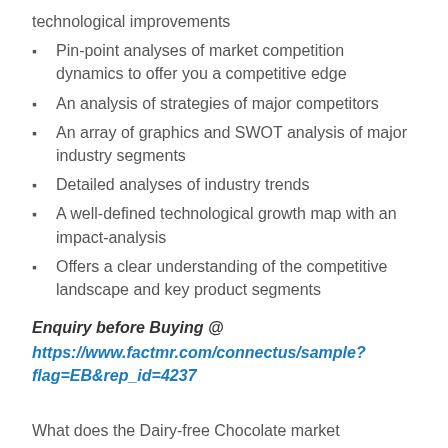technological improvements
Pin-point analyses of market competition dynamics to offer you a competitive edge
An analysis of strategies of major competitors
An array of graphics and SWOT analysis of major industry segments
Detailed analyses of industry trends
A well-defined technological growth map with an impact-analysis
Offers a clear understanding of the competitive landscape and key product segments
Enquiry before Buying @
https://www.factmr.com/connectus/sample?flag=EB&rep_id=4237
What does the Dairy-free Chocolate market